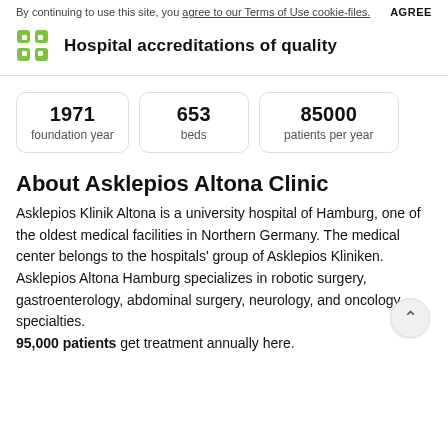By continuing to use this site, you agree to our Terms of Use cookie-files. AGREE
Hospital accreditations of quality
1971
foundation year
653
beds
85000
patients per year
About Asklepios Altona Clinic
Asklepios Klinik Altona is a university hospital of Hamburg, one of the oldest medical facilities in Northern Germany. The medical center belongs to the hospitals' group of Asklepios Kliniken. Asklepios Altona Hamburg specializes in robotic surgery, gastroenterology, abdominal surgery, neurology, and oncology specialties. 95,000 patients get treatment annually here.